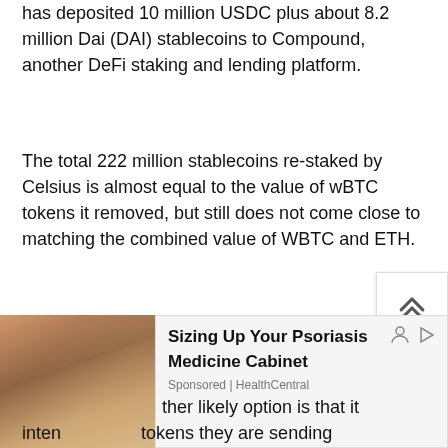has deposited 10 million USDC plus about 8.2 million Dai (DAI) stablecoins to Compound, another DeFi staking and lending platform.
The total 222 million stablecoins re-staked by Celsius is almost equal to the value of wBTC tokens it removed, but still does not come close to matching the combined value of WBTC and ETH.
The Celsius team's plans with the crypto that have been moved are still not clear. There is a real possibility that it could sell the assets it sent [another likely option is that it inten[ds to] tokens they are sending
[Figure (photo): Advertisement overlay: 'Sizing Up Your Psoriasis Medicine Cabinet' sponsored by HealthCentral, with a photo of a woman in a store aisle]